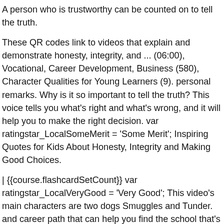A person who is trustworthy can be counted on to tell the truth.
These QR codes link to videos that explain and demonstrate honesty, integrity, and ... (06:00), Vocational, Career Development, Business (580), Character Qualities for Young Learners (9). personal remarks. Why is it so important to tell the truth? This voice tells you what's right and what's wrong, and it will help you to make the right decision. var ratingstar_LocalSomeMerit = 'Some Merit'; Inspiring Quotes for Kids About Honesty, Integrity and Making Good Choices.
| {{course.flashcardSetCount}} var ratingstar_LocalVeryGood = 'Very Good'; This video's main characters are two dogs Smuggles and Tunder. and career path that can help you find the school that's right for you. This series is about character building.
Smuggles realizes that his dog bone pile was getting smaller and smaller and wonders what's happening to his bones. Simply give the URL and we will get the embed code automatically, if we support